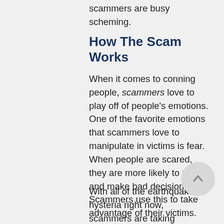scammers are busy scheming.
How The Scam Works
When it comes to conning people, scammers love to play off of people's emotions. One of the favorite emotions that scammers love to manipulate in victims is fear. When people are scared, they are more likely to panic and make bad decisions. Scammers use this to take advantage of their victims.
With all of the earthquake hysteria right now, scammers are taking advantage of it. In Orange County, officials are warning of scammers who are calling houses.